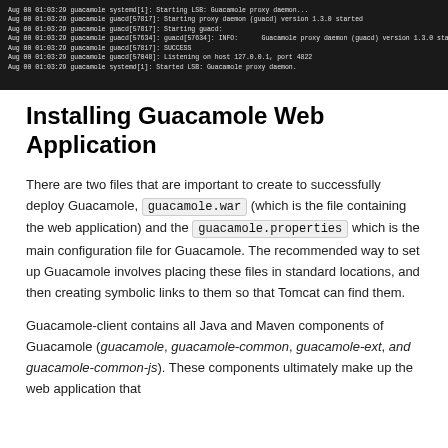[Figure (screenshot): Terminal output showing Guacamole proxy daemon (guacd) starting, with system log lines including version 1.3.0 started, guacd starting, INFO messages, SUCCESS, listening on host 127.0.0.1 port 4822, and started LSB: Guacamole proxy daemon.]
Installing Guacamole Web Application
There are two files that are important to create to successfully deploy Guacamole, guacamole.war (which is the file containing the web application) and the guacamole.properties which is the main configuration file for Guacamole. The recommended way to set up Guacamole involves placing these files in standard locations, and then creating symbolic links to them so that Tomcat can find them.
Guacamole-client contains all Java and Maven components of Guacamole (guacamole, guacamole-common, guacamole-ext, and guacamole-common-js). These components ultimately make up the web application that